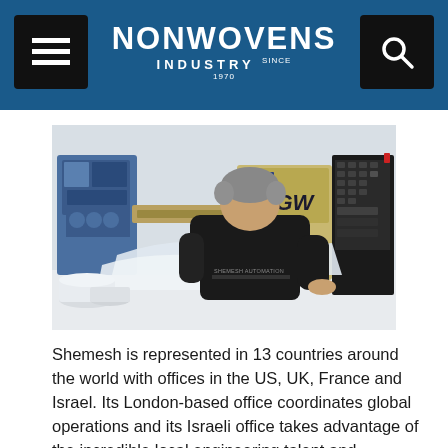NONWOVENS INDUSTRY
[Figure (photo): A man wearing a 'Shemesh Automation' black t-shirt viewed from behind, standing in front of an industrial nonwovens manufacturing machine labeled 'FGW'. The factory floor shows various automated machinery and white material rolls.]
Shemesh is represented in 13 countries around the world with offices in the US, UK, France and Israel. Its London-based office coordinates global operations and its Israeli office takes advantage of the incredible local engineering talent and